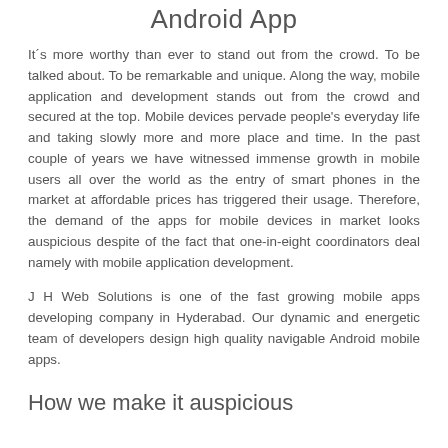Android App
It´s more worthy than ever to stand out from the crowd. To be talked about. To be remarkable and unique. Along the way, mobile application and development stands out from the crowd and secured at the top. Mobile devices pervade people's everyday life and taking slowly more and more place and time. In the past couple of years we have witnessed immense growth in mobile users all over the world as the entry of smart phones in the market at affordable prices has triggered their usage. Therefore, the demand of the apps for mobile devices in market looks auspicious despite of the fact that one-in-eight coordinators deal namely with mobile application development.
J H Web Solutions is one of the fast growing mobile apps developing company in Hyderabad. Our dynamic and energetic team of developers design high quality navigable Android mobile apps.
How we make it auspicious